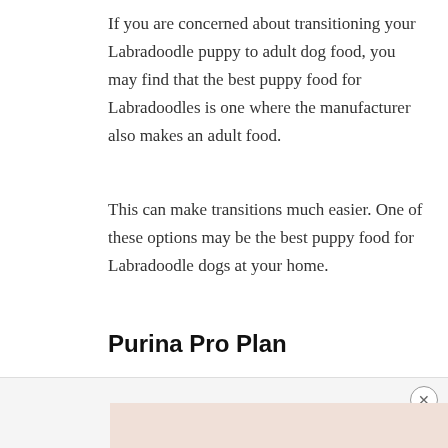If you are concerned about transitioning your Labradoodle puppy to adult dog food, you may find that the best puppy food for Labradoodles is one where the manufacturer also makes an adult food.
This can make transitions much easier. One of these options may be the best puppy food for Labradoodle dogs at your home.
Purina Pro Plan
This popular puppy food is part of the Pro Plan life stages foods*.
[Figure (photo): Advertisement banner at the bottom of the page with a close (x) button and a partial image strip]